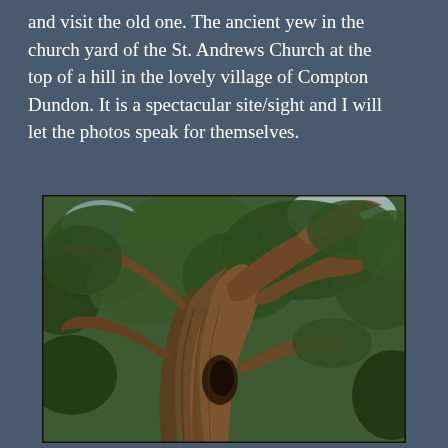and visit the old one. The ancient yew in the church yard of the St. Andrews Church at the top of a hill in the lovely village of Compton Dundon. It is a spectacular site/sight and I will let the photos speak for themselves.
[Figure (photo): Upward-looking photograph of an ancient yew tree showing massive gnarled trunk with multiple thick spreading branches against a canopy of dark green foliage and glimpses of sky. The tree appears very old with twisted, textured bark in warm brown tones.]